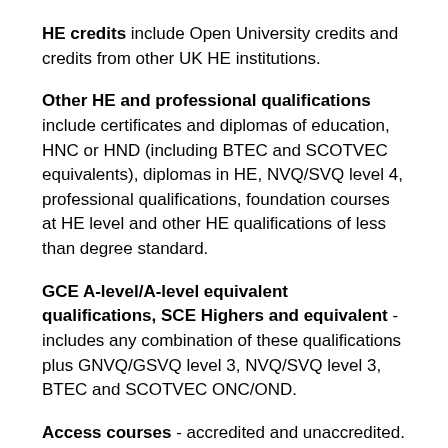HE credits include Open University credits and credits from other UK HE institutions.
Other HE and professional qualifications include certificates and diplomas of education, HNC or HND (including BTEC and SCOTVEC equivalents), diplomas in HE, NVQ/SVQ level 4, professional qualifications, foundation courses at HE level and other HE qualifications of less than degree standard.
GCE A-level/A-level equivalent qualifications, SCE Highers and equivalent - includes any combination of these qualifications plus GNVQ/GSVQ level 3, NVQ/SVQ level 3, BTEC and SCOTVEC ONC/OND.
Access courses - accredited and unaccredited.
GCSE/O-level qualifications only; SCE O grades and Standard grades - includes any combination of these qualifications.